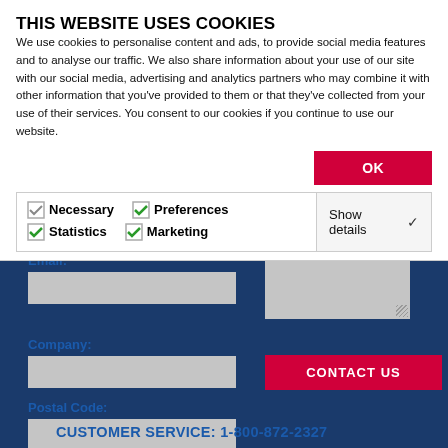THIS WEBSITE USES COOKIES
We use cookies to personalise content and ads, to provide social media features and to analyse our traffic. We also share information about your use of our site with our social media, advertising and analytics partners who may combine it with other information that you've provided to them or that they've collected from your use of their services. You consent to our cookies if you continue to use our website.
OK
Necessary   Preferences   Statistics   Marketing   Show details
Email:
Company:
CONTACT US
Postal Code:
CUSTOMER SERVICE: 1-800-872-2327